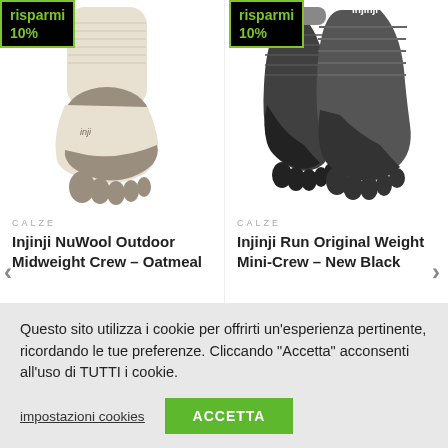[Figure (photo): Injinji NuWool Outdoor Midweight Crew toe sock in oatmeal/beige color with 'risparmi 10%' green badge overlay]
[Figure (photo): Injinji Run Original Weight Mini-Crew toe socks in new black/dark gray color with 'risparmi 10%' green badge overlay]
CALZE
Injinji NuWool Outdoor Midweight Crew – Oatmeal
CALZE
Injinji Run Original Weight Mini-Crew – New Black
[Figure (other): 5 gold stars rating]
Questo sito utilizza i cookie per offrirti un'esperienza pertinente, ricordando le tue preferenze. Cliccando "Accetta" acconsenti all'uso di TUTTI i cookie.
impostazioni cookies
ACCETTA